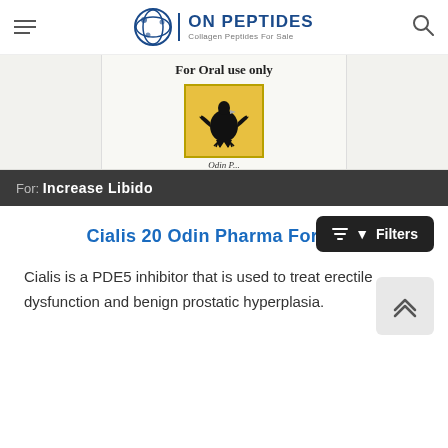ON PEPTIDES — Collagen Peptides For Sale
[Figure (photo): Product image showing a label reading 'For Oral use only' with an eagle logo below it, partially visible, for Odin Pharma product]
For: Increase Libido
Cialis 20 Odin Pharma For Sale
Cialis is a PDE5 inhibitor that is used to treat erectile dysfunction and benign prostatic hyperplasia.